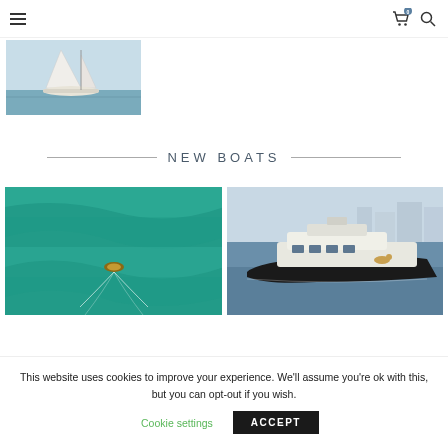Navigation header with hamburger menu and cart/search icons
[Figure (photo): Sailboat with white sails on the water, aerial/side view]
NEW BOATS
[Figure (photo): Aerial view of a small wooden boat on turquoise water]
[Figure (photo): Luxury motor yacht in a marina, aerial view]
This website uses cookies to improve your experience. We'll assume you're ok with this, but you can opt-out if you wish.
Cookie settings | ACCEPT